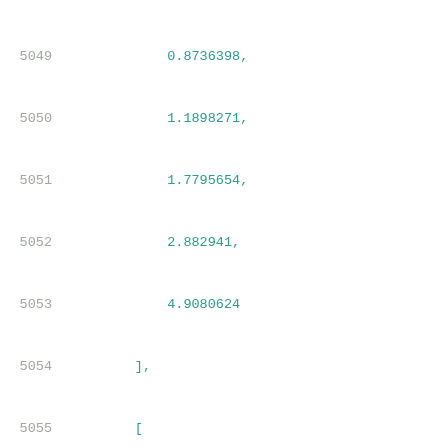5049    0.8736398,
5050    1.1898271,
5051    1.7795654,
5052    2.882941,
5053    4.9080624
5054],
5055[
5056    0.6048606,
5057    0.69735,
5058    0.8734492,
5059    1.1894505,
5060    1.787346,
5061    2.8742644,
5062    4.9093926
5063],
5064[
5065    0.6072435,
5066    0.6962915,
5067    0.8760694,
5068    1.1892467,
5069    1.7793993,